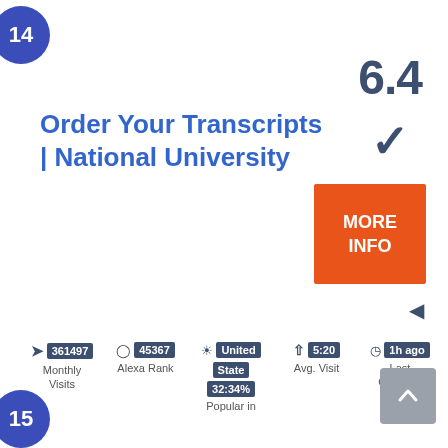14
Order Your Transcripts | National University
6.4
✓
MORE INFO
◄
361497 Monthly Visits
45367 Alexa Rank
United State 32:34% Popular in
5:20 Avg. Visit
1h ago Last Checked
15